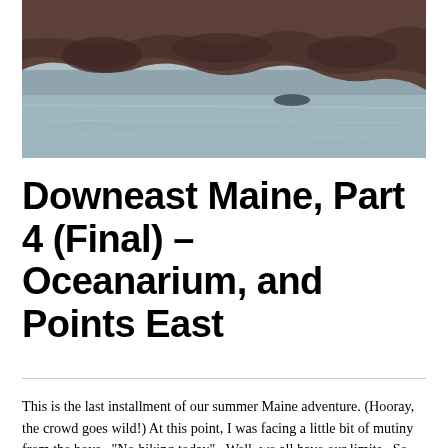[Figure (photo): Rocky shoreline with water, showing rocks and a calm coastal scene in Downeast Maine]
Downeast Maine, Part 4 (Final) – Oceanarium, and Points East
This is the last installment of our summer Maine adventure. (Hooray, the crowd goes wild!) At this point, I was facing a little bit of mutiny from the boys.  "No hiking today".  Well, we all have our limits.  So instead, we went to the Oceanarium, home